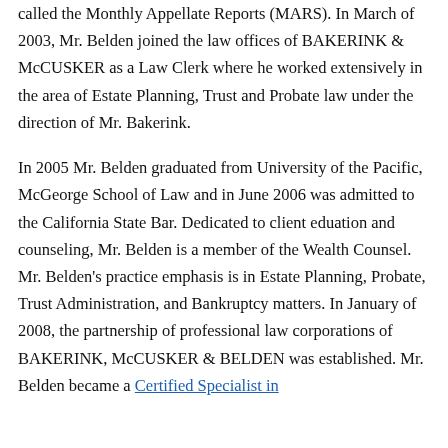called the Monthly Appellate Reports (MARS). In March of 2003, Mr. Belden joined the law offices of BAKERINK & McCUSKER as a Law Clerk where he worked extensively in the area of Estate Planning, Trust and Probate law under the direction of Mr. Bakerink.
In 2005 Mr. Belden graduated from University of the Pacific, McGeorge School of Law and in June 2006 was admitted to the California State Bar. Dedicated to client eduation and counseling, Mr. Belden is a member of the Wealth Counsel. Mr. Belden's practice emphasis is in Estate Planning, Probate, Trust Administration, and Bankruptcy matters. In January of 2008, the partnership of professional law corporations of BAKERINK, McCUSKER & BELDEN was established. Mr. Belden became a Certified Specialist in